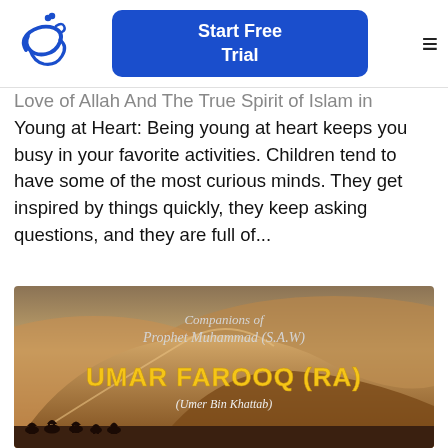[Figure (logo): Blue Arabic calligraphy logo]
Start Free Trial
Love of Allah And The True Spirit of Islam in Young at Heart: Being young at heart keeps you busy in your favorite activities. Children tend to have some of the most curious minds. They get inspired by things quickly, they keep asking questions, and they are full of...
[Figure (photo): Desert sand dunes with text: Companions of Prophet Muhammad (S.A.W) UMAR FAROOQ (RA) (Umer Bin Khattab), camel silhouettes at bottom]